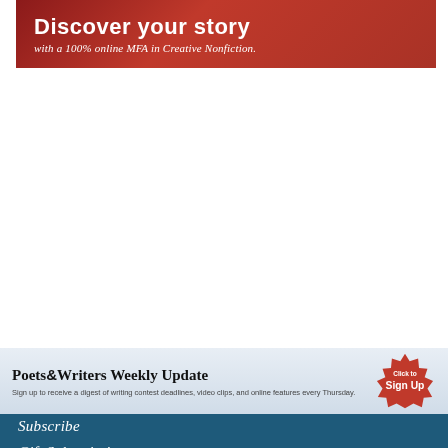[Figure (illustration): Red banner advertisement reading 'Discover your story with a 100% online MFA in Creative Nonfiction.']
[Figure (infographic): Poets & Writers Weekly Update newsletter signup bar with red starburst 'Click to Sign Up' badge]
Subscribe
Gift Subscription